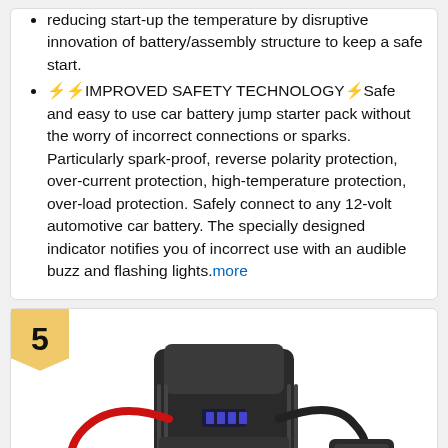reducing start-up the temperature by disruptive innovation of battery/assembly structure to keep a safe start.
🔋🔋IMPROVED SAFETY TECHNOLOGY🔋Safe and easy to use car battery jump starter pack without the worry of incorrect connections or sparks. Particularly spark-proof, reverse polarity protection, over-current protection, high-temperature protection, over-load protection. Safely connect to any 12-volt automotive car battery. The specially designed indicator notifies you of incorrect use with an audible buzz and flashing lights. more
[Figure (photo): Product listing card showing rank badge number 5 and a car battery jump starter device with red clamps and a small accessory]